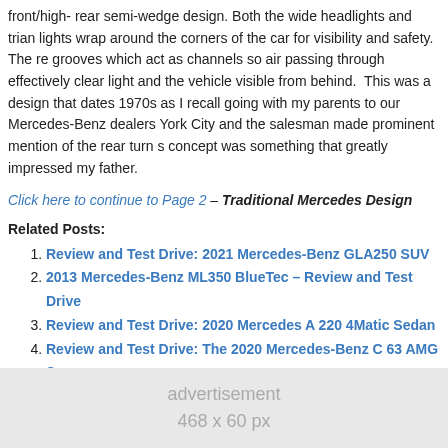front/high- rear semi-wedge design. Both the wide headlights and trian lights wrap around the corners of the car for visibility and safety. The re grooves which act as channels so air passing through effectively clear light and the vehicle visible from behind.  This was a design that dates 1970s as I recall going with my parents to our Mercedes-Benz dealers York City and the salesman made prominent mention of the rear turn s concept was something that greatly impressed my father.
Click here to continue to Page 2 – Traditional Mercedes Design
Related Posts:
Review and Test Drive: 2021 Mercedes-Benz GLA250 SUV
2013 Mercedes-Benz ML350 BlueTec – Review and Test Drive
Review and Test Drive: 2020 Mercedes A 220 4Matic Sedan
Review and Test Drive: The 2020 Mercedes-Benz C 63 AMG S
Pages: 1 2 3 4
[Figure (other): Advertisement placeholder banner 468 x 60 px]